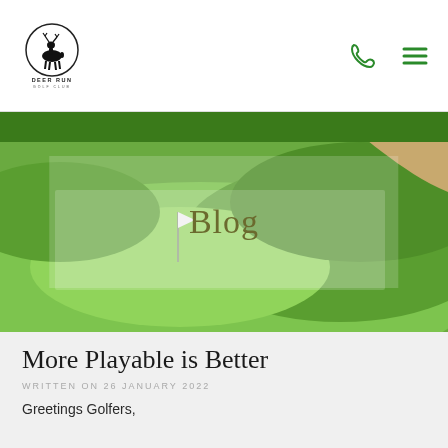Deer Run Golf Club — navigation header with logo, phone icon, and menu icon
[Figure (photo): Aerial view of a lush green golf course putting green with a flag stick, surrounded by rolling fairways and trees. A semi-transparent white overlay box sits in the center of the image.]
Blog
More Playable is Better
WRITTEN ON 26 JANUARY 2022
Greetings Golfers,